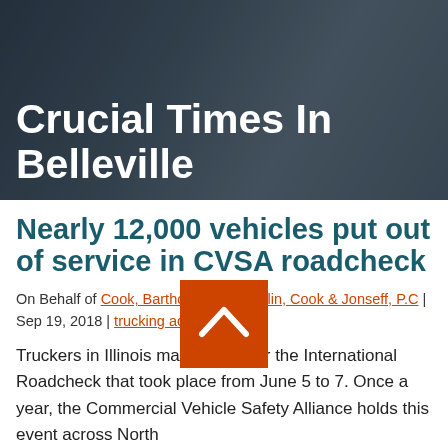Crucial Times In Belleville
Nearly 12,000 vehicles put out of service in CVSA roadcheck
On Behalf of Cook, Bartholomew, Shevlin, Cook & Joseff, P.C | Sep 19, 2018 | trucking accidents
Truckers in Illinois may remember the International Roadcheck that took place from June 5 to 7. Once a year, the Commercial Vehicle Safety Alliance holds this event across North